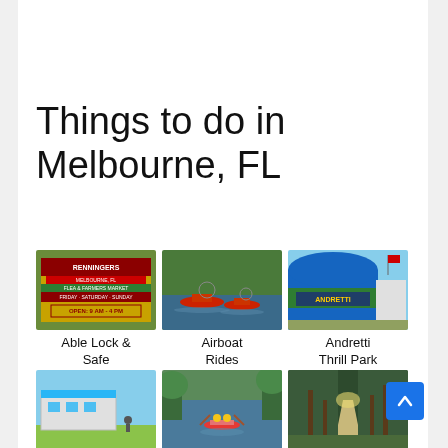Things to do in Melbourne, FL
[Figure (photo): Renningers Flea & Farmers Market sign – Friday Saturday Sunday, Open 9AM-4PM]
Able Lock & Safe
[Figure (photo): Airboats on water]
Airboat Rides Melbourne
[Figure (photo): Andretti Thrill Park exterior – blue and green building]
Andretti Thrill Park
[Figure (photo): Barrier Island – modern building exterior]
Barrier Island
[Figure (photo): Brevard Zoo – kayaking on water]
Brevard Zoo
[Figure (photo): Brevard Zoo Linear Park – tree-lined path]
Brevard Zoo Linear Park